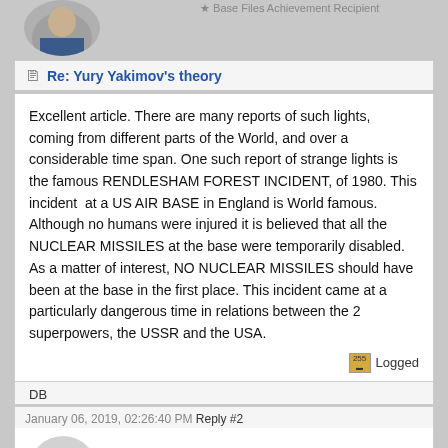Re: Yury Yakimov's theory
Excellent article. There are many reports of such lights, coming from different parts of the World, and over a considerable time span. One such report of strange lights is the famous RENDLESHAM FOREST INCIDENT, of 1980. This incident  at a US AIR BASE in England is World famous. Although no humans were injured it is believed that all the NUCLEAR MISSILES at the base were temporarily disabled. As a matter of interest, NO NUCLEAR MISSILES should have been at the base in the first place. This incident came at a particularly dangerous time in relations between the 2 superpowers, the USSR and the USA.
Logged
DB
January 06, 2019, 02:26:40 PM Reply #2
kurtjohnsonisd@yahoo.com